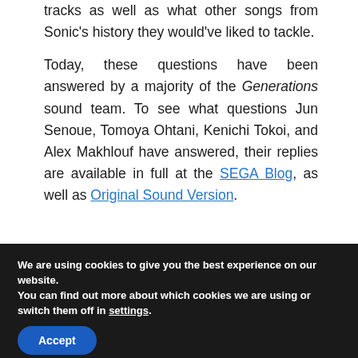tracks as well as what other songs from Sonic's history they would've liked to tackle.

Today, these questions have been answered by a majority of the Generations sound team. To see what questions Jun Senoue, Tomoya Ohtani, Kenichi Tokoi, and Alex Makhlouf have answered, their replies are available in full at the SEGA Blog, as well as Original Sound Version.
We are using cookies to give you the best experience on our website.
You can find out more about which cookies we are using or switch them off in settings.
Accept